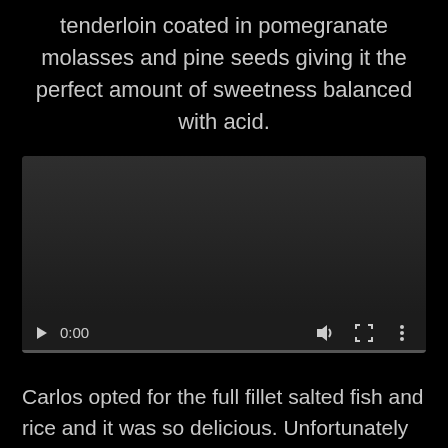tenderloin coated in pomegranate molasses and pine seeds giving it the perfect amount of sweetness balanced with acid.
[Figure (screenshot): Embedded video player showing a paused video at 0:00 with play button, volume, fullscreen, and more options controls.]
Carlos opted for the full fillet salted fish and rice and it was so delicious. Unfortunately they were out of chicken livers, which was probably for the